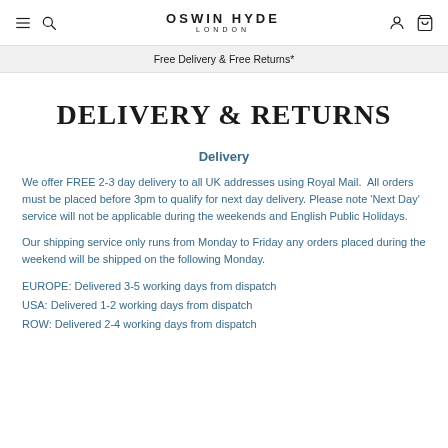OSWIN HYDE LONDON — Free Delivery & Free Returns*
DELIVERY & RETURNS
Delivery
We offer FREE 2-3 day delivery to all UK addresses using Royal Mail.  All orders must be placed before 3pm to qualify for next day delivery. Please note 'Next Day' service will not be applicable during the weekends and English Public Holidays.
Our shipping service only runs from Monday to Friday any orders placed during the weekend will be shipped on the following Monday.
EUROPE: Delivered 3-5 working days from dispatch
USA: Delivered 1-2 working days from dispatch
ROW: Delivered 2-4 working days from dispatch